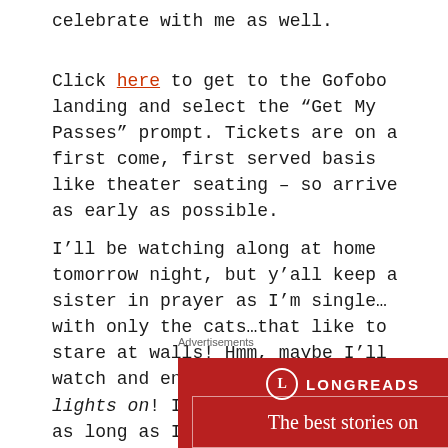celebrate with me as well.
Click here to get to the Gofobo landing and select the “Get My Passes” prompt. Tickets are on a first come, first served basis like theater seating – so arrive as early as possible.
I’ll be watching along at home tomorrow night, but y’all keep a sister in prayer as I’m single… with only the cats…that like to stare at walls! Hmm, maybe I’ll watch and enjoy with all the lights on! I should be straight as long as I don’t say a certain name five times in the mirror, lol.
Advertisements
[Figure (logo): Longreads advertisement banner on dark red background with circle L logo and tagline 'The best stories on']